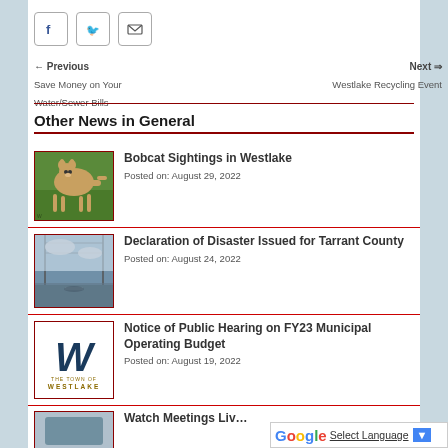[Figure (screenshot): Social share buttons for Facebook, Twitter, and Email]
← Previous
Save Money on Your Water/Sewer Bills
Next ⇒
Westlake Recycling Event
Other News in General
[Figure (photo): Bobcat animal photo thumbnail]
Bobcat Sightings in Westlake
Posted on: August 29, 2022
[Figure (photo): Flooded road or river photo thumbnail]
Declaration of Disaster Issued for Tarrant County
Posted on: August 24, 2022
[Figure (logo): Town of Westlake logo thumbnail]
Notice of Public Hearing on FY23 Municipal Operating Budget
Posted on: August 19, 2022
[Figure (screenshot): Watch Meetings Liv... thumbnail (partially visible)]
Watch Meetings Liv...
[Figure (screenshot): Google Translate Select Language bar]